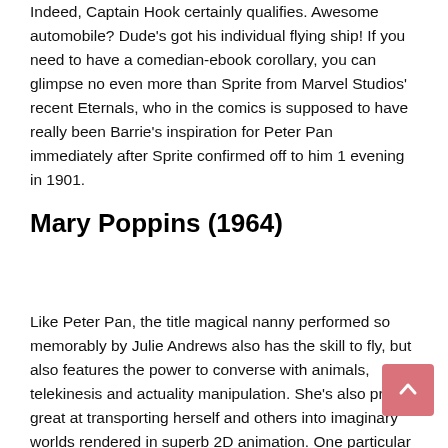Indeed, Captain Hook certainly qualifies. Awesome automobile? Dude's got his individual flying ship! If you need to have a comedian-ebook corollary, you can glimpse no even more than Sprite from Marvel Studios' recent Eternals, who in the comics is supposed to have really been Barrie's inspiration for Peter Pan immediately after Sprite confirmed off to him 1 evening in 1901.
Mary Poppins (1964)
Like Peter Pan, the title magical nanny performed so memorably by Julie Andrews also has the skill to fly, but also features the power to converse with animals, telekinesis and actuality manipulation. She's also pretty great at transporting herself and others into imaginary worlds rendered in superb 2D animation. One particular may possibly say she is “nearly great in just about every way.” She even received that most superheroic of factors, a sequel, with 2018’s Mary Poppins Returns wherever Emily Blunt portrayed her.